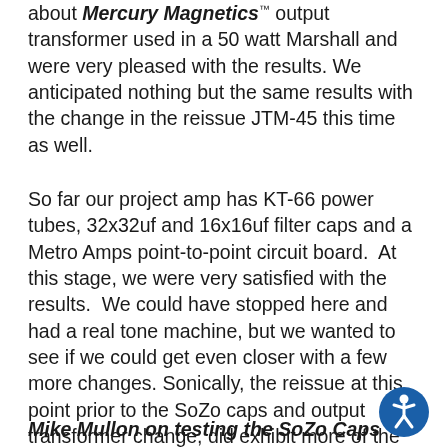about Mercury Magnetics output transformer used in a 50 watt Marshall and were very pleased with the results. We anticipated nothing but the same results with the change in the reissue JTM-45 this time as well.
So far our project amp has KT-66 power tubes, 32x32uf and 16x16uf filter caps and a Metro Amps point-to-point circuit board.  At this stage, we were very satisfied with the results.  We could have stopped here and had a real tone machine, but we wanted to see if we could get even closer with a few more changes. Sonically, the reissue at this point prior to the SoZo caps and output transformer change, did exhibit more of the growl and gain of the original, but it still wasn't nearly as smooth or as dynamically punchy as the badge logo JTM-45 was.
Mike Mullon on testing the SoZo Caps